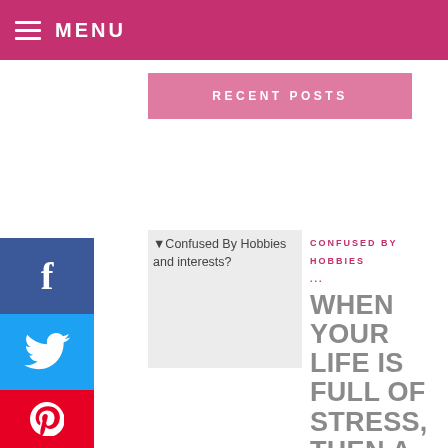MENU
RECENT POSTS
[Figure (other): Confused By Hobbies and Interests? thumbnail image with overlaid text]
CONFUSED BY HOBBIES ...
WHEN YOUR LIFE IS FULL OF STRESS, THEN A INTEREST ...
[Figure (other): You May Manage Your Heavy Snoring thumbnail image with overlaid text]
YOU MAY MANAGE YOUR ...
ARE YOU CURRENTLY FINDING IT HARD TO SLEEPING ...